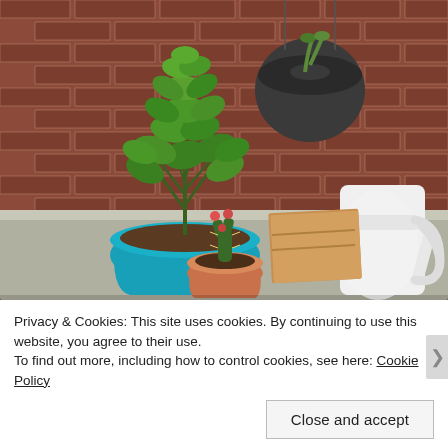[Figure (photo): Photograph of potted plants on an outdoor ledge against a brick wall. A large bushy basil plant in a teal/turquoise pot dominates the center-left, with a dark gray hanging pot with a small plant behind it, a small cactus in a terracotta pot in the front-center, and a white watering can on the right. The background is a red brick wall.]
Privacy & Cookies: This site uses cookies. By continuing to use this website, you agree to their use.
To find out more, including how to control cookies, see here: Cookie Policy
Close and accept